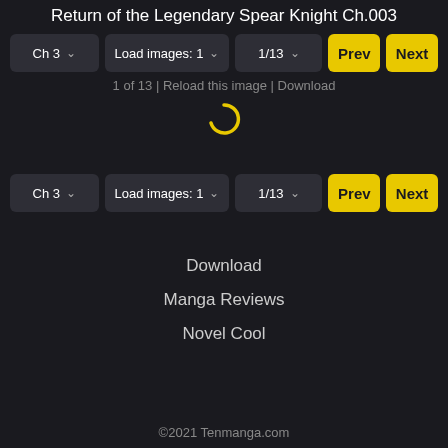Return of the Legendary Spear Knight Ch.003
[Figure (screenshot): Navigation controls row 1: Ch 3 dropdown, Load images: 1 dropdown, 1/13 dropdown, Prev button (yellow), Next button (yellow)]
1 of 13 | Reload this image | Download
[Figure (other): Loading spinner icon (yellow circular arrow)]
[Figure (screenshot): Navigation controls row 2: Ch 3 dropdown, Load images: 1 dropdown, 1/13 dropdown, Prev button (yellow), Next button (yellow)]
Download
Manga Reviews
Novel Cool
©2021 Tenmanga.com